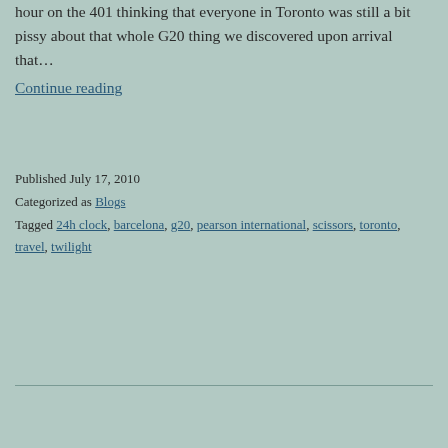hour on the 401 thinking that everyone in Toronto was still a bit pissy about that whole G20 thing we discovered upon arrival that…
Continue reading
Published July 17, 2010
Categorized as Blogs
Tagged 24h clock, barcelona, g20, pearson international, scissors, toronto, travel, twilight